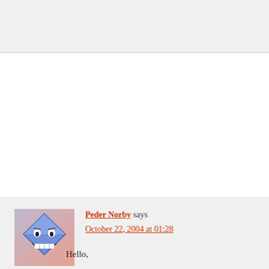[Figure (other): Top banner/header region with light gray background]
Peder Norby says
October 22, 2004 at 01:28

Hello,